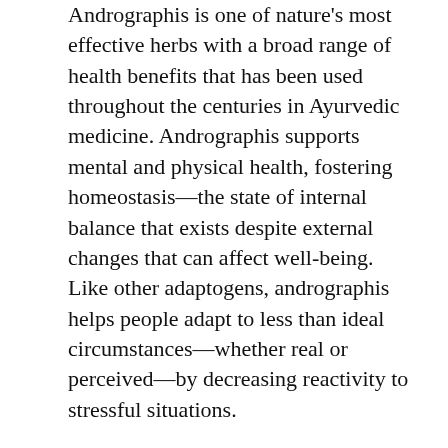Andrographis is one of nature's most effective herbs with a broad range of health benefits that has been used throughout the centuries in Ayurvedic medicine. Andrographis supports mental and physical health, fostering homeostasis—the state of internal balance that exists despite external changes that can affect well-being. Like other adaptogens, andrographis helps people adapt to less than ideal circumstances—whether real or perceived—by decreasing reactivity to stressful situations.
While andrographis was first seen as a cold and flu fighter, research now indicates that this powerful herb can also lower stress levels, help brain cells